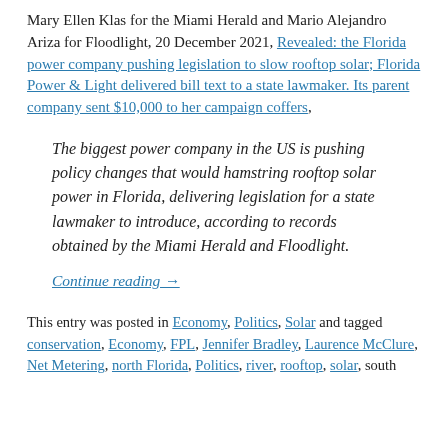Mary Ellen Klas for the Miami Herald and Mario Alejandro Ariza for Floodlight, 20 December 2021, Revealed: the Florida power company pushing legislation to slow rooftop solar; Florida Power & Light delivered bill text to a state lawmaker. Its parent company sent $10,000 to her campaign coffers,
The biggest power company in the US is pushing policy changes that would hamstring rooftop solar power in Florida, delivering legislation for a state lawmaker to introduce, according to records obtained by the Miami Herald and Floodlight.
Continue reading →
This entry was posted in Economy, Politics, Solar and tagged conservation, Economy, FPL, Jennifer Bradley, Laurence McClure, Net Metering, north Florida, Politics, river, rooftop, solar, south